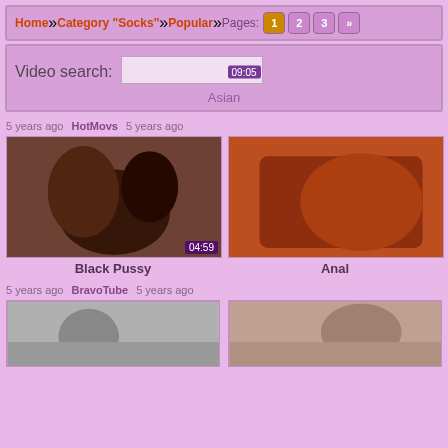Home » Category "Socks" » Popular » Pages: 1 2 3 »
Video search: [input] 09:05
Asian
5 years ago   HotMovs   5 years ago
[Figure (photo): Thumbnail image left - Black Pussy category video, duration 04:59]
[Figure (photo): Thumbnail image right - Anal category video, partially visible]
Black Pussy
Anal
5 years ago   BravoTube   5 years ago
[Figure (photo): Thumbnail image bottom left - partially visible]
[Figure (photo): Thumbnail image bottom right - partially visible]